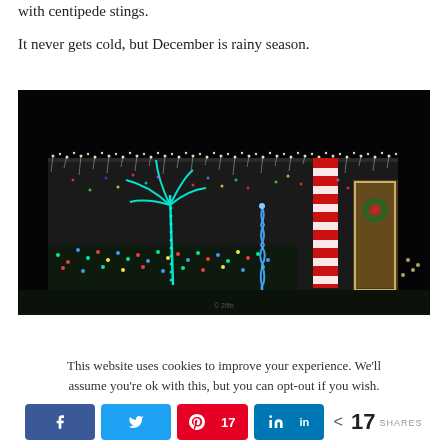with centipede stings.
It never gets cold, but December is rainy season.
[Figure (photo): A house decorated with colorful Christmas lights at night. A neon teal palm tree is visible, along with a blue spiral Christmas tree, red and white striped columns, icicle lights along the roofline, and a wreath on the front door. The yard is also covered with multicolored lights.]
This website uses cookies to improve your experience. We'll assume you're ok with this, but you can opt-out if you wish.
< 17 SHARES